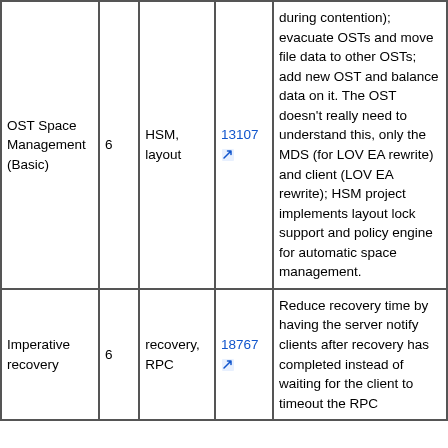| OST Space Management (Basic) | 6 | HSM, layout | 13107 | during contention); evacuate OSTs and move file data to other OSTs; add new OST and balance data on it. The OST doesn't really need to understand this, only the MDS (for LOV EA rewrite) and client (LOV EA rewrite); HSM project implements layout lock support and policy engine for automatic space management. |
| Imperative recovery | 6 | recovery, RPC | 18767 | Reduce recovery time by having the server notify clients after recovery has completed instead of waiting for the client to timeout the RPC |